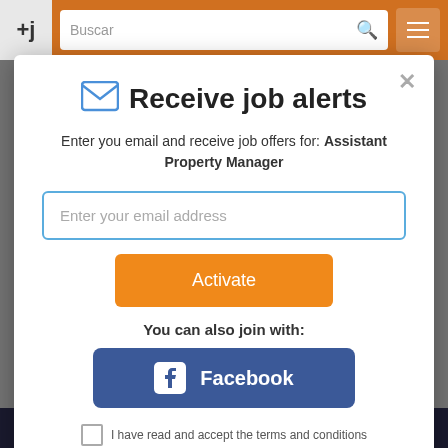[Figure (screenshot): Orange navigation bar with logo, search field, and menu button]
Receive job alerts
Enter you email and receive job offers for: Assistant Property Manager
Enter your email address
Activate
You can also join with:
Facebook
I have read and accept the terms and conditions